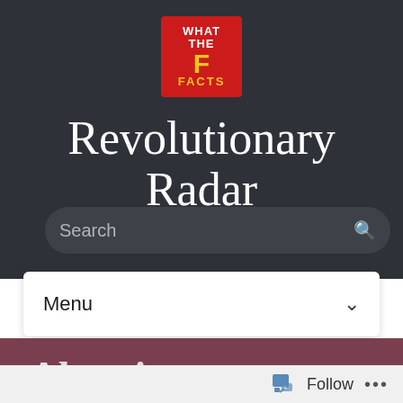[Figure (logo): What The F Facts logo — red square with white text 'WHAT THE' and yellow 'F' and 'FACTS']
Revolutionary Radar
Search
Menu
Abortion
Follow